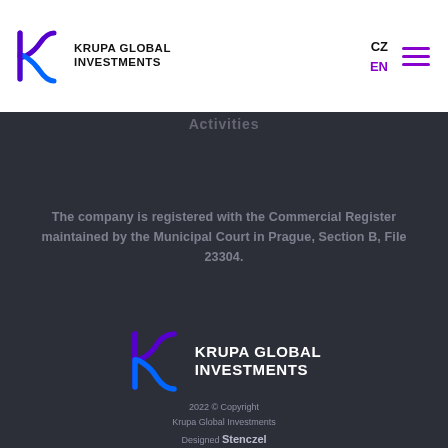[Figure (logo): Krupa Global Investments logo — stylized K icon in purple/blue gradient with bold uppercase text KRUPA GLOBAL INVESTMENTS]
CZ EN
Activities
The company is registered with the Commercial Register maintained by the Municipal Court in Prague, Section B, File 23304.
[Figure (logo): Krupa Global Investments footer logo — stylized K icon in purple/blue with white bold uppercase text KRUPA GLOBAL INVESTMENTS]
2022 © Copyright Krupa Global Investments Designed Stenczel